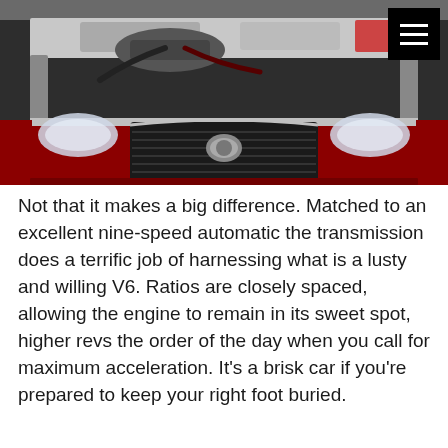[Figure (photo): Overhead front view of a red car (Holden) with hood open showing engine bay, frontal grille with Holden lion badge, and headlights visible. A black hamburger menu icon is in the top-right corner.]
Not that it makes a big difference. Matched to an excellent nine-speed automatic the transmission does a terrific job of harnessing what is a lusty and willing V6. Ratios are closely spaced, allowing the engine to remain in its sweet spot, higher revs the order of the day when you call for maximum acceleration. It's a brisk car if you're prepared to keep your right foot buried.